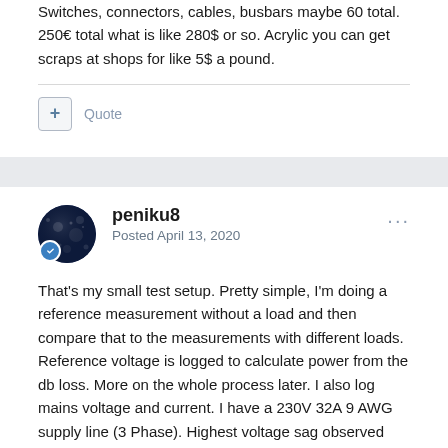Switches, connectors, cables, busbars maybe 60 total. 250€ total what is like 280$ or so. Acrylic you can get scraps at shops for like 5$ a pound.
peniku8
Posted April 13, 2020
That's my small test setup. Pretty simple, I'm doing a reference measurement without a load and then compare that to the measurements with different loads. Reference voltage is logged to calculate power from the db loss. More on the whole process later. I also log mains voltage and current. I have a 230V 32A 9 AWG supply line (3 Phase). Highest voltage sag observed was 1% (2V) so far at 14A current draw. I doubt the readout on the power distributor is very accurate, but it gives a general idea of long term efficiency. Speakon cables are also 11AWG/4mm² 5ft/1.5m cables to keep other error factors low. Btw the amp on the test